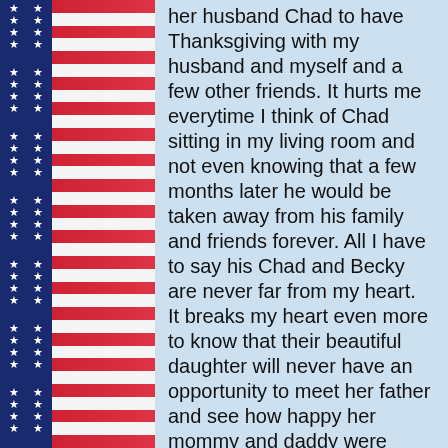[Figure (illustration): Left border of American flag with blue star field and red and white stripes running vertically along the left edge of the page]
[Figure (illustration): Faint watermark American flag with pole in center-right area of page]
her husband Chad to have Thanksgiving with my husband and myself and a few other friends. It hurts me everytime I think of Chad sitting in my living room and not even knowing that a few months later he would be taken away from his family and friends forever. All I have to say his Chad and Becky are never far from my heart. It breaks my heart even more to know that their beautiful daughter will never have an opportunity to meet her father and see how happy her mommy and daddy were togther."
Rose of San Antonio
"Chad lib las esi